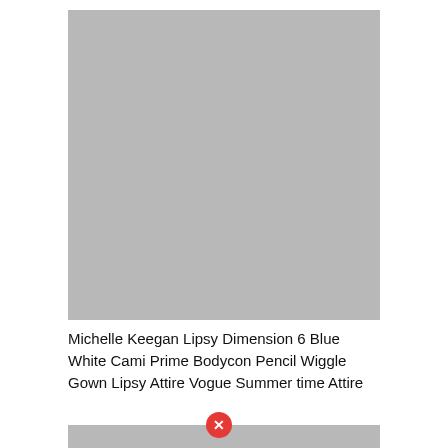[Figure (photo): Gray placeholder image rectangle]
Michelle Keegan Lipsy Dimension 6 Blue White Cami Prime Bodycon Pencil Wiggle Gown Lipsy Attire Vogue Summer time Attire
[Figure (photo): Gray placeholder image strip at bottom with red X close button overlay]